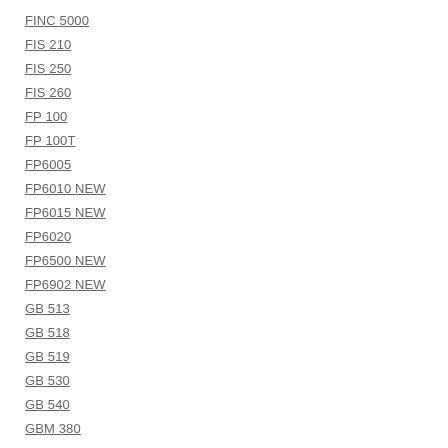FINC 5000
FIS 210
FIS 250
FIS 260
FP 100
FP 100T
FP6005
FP6010 NEW
FP6015 NEW
FP6020
FP6500 NEW
FP6902 NEW
GB 513
GB 518
GB 519
GB 530
GB 540
GBM 380
GBM 381 (NEW)